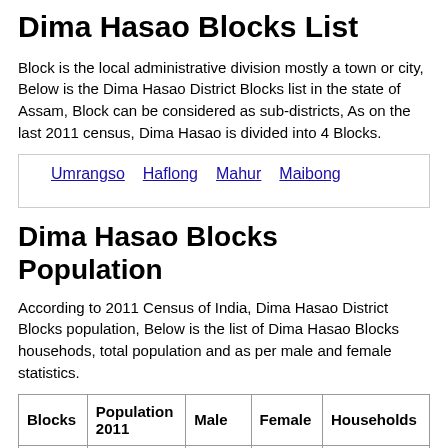Dima Hasao Blocks List
Block is the local administrative division mostly a town or city, Below is the Dima Hasao District Blocks list in the state of Assam, Block can be considered as sub-districts, As on the last 2011 census, Dima Hasao is divided into 4 Blocks.
Umrangso
Haflong
Mahur
Maibong
Dima Hasao Blocks Population
According to 2011 Census of India, Dima Hasao District Blocks population, Below is the list of Dima Hasao Blocks househods, total population and as per male and female statistics.
| Blocks | Population 2011 | Male | Female | Households |
| --- | --- | --- | --- | --- |
| New | 22,581 | 11,886 | 10,695 | 4,276 |